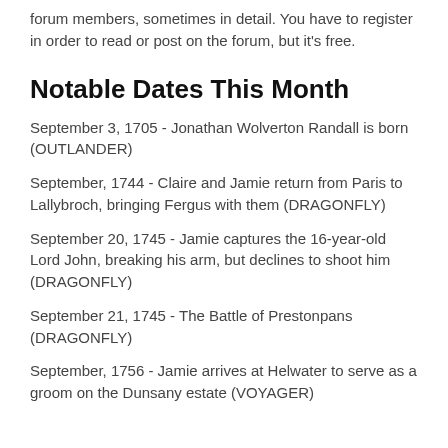forum members, sometimes in detail. You have to register in order to read or post on the forum, but it's free.
Notable Dates This Month
September 3, 1705 - Jonathan Wolverton Randall is born (OUTLANDER)
September, 1744 - Claire and Jamie return from Paris to Lallybroch, bringing Fergus with them (DRAGONFLY)
September 20, 1745 - Jamie captures the 16-year-old Lord John, breaking his arm, but declines to shoot him (DRAGONFLY)
September 21, 1745 - The Battle of Prestonpans (DRAGONFLY)
September, 1756 - Jamie arrives at Helwater to serve as a groom on the Dunsany estate (VOYAGER)